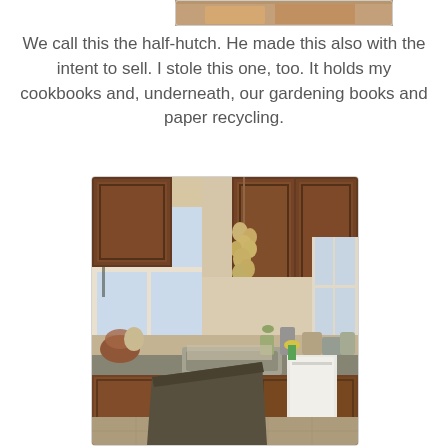[Figure (photo): Top portion of a previous photo, partially visible at the top of the page]
We call this the half-hutch. He made this also with the intent to sell. I stole this one, too. It holds my cookbooks and, underneath, our gardening books and paper recycling.
[Figure (photo): Kitchen photo showing wooden cabinets, a window with garlic or onions hanging from it, a sink area with various items on the countertop, and a white dishwasher]